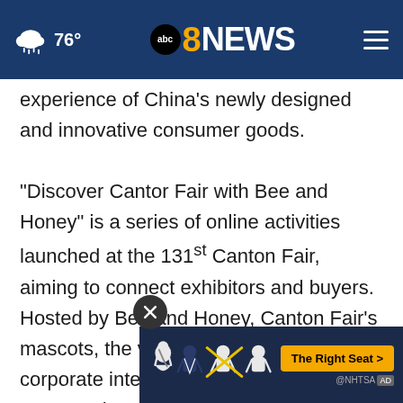76° | ABC 8 NEWS
experience of China's newly designed and innovative consumer goods.
"Discover Cantor Fair with Bee and Honey" is a series of online activities launched at the 131st Canton Fair, aiming to connect exhibitors and buyers. Hosted by Bee and Honey, Canton Fair's mascots, the virtual event includes corporate interviews, product presentations, factory demonstrations, process and craftsmanship intro... China's businesses and intelligent
[Figure (screenshot): NHTSA 'The Right Seat' advertisement banner at the bottom of the screen with seat belt mascot figures]